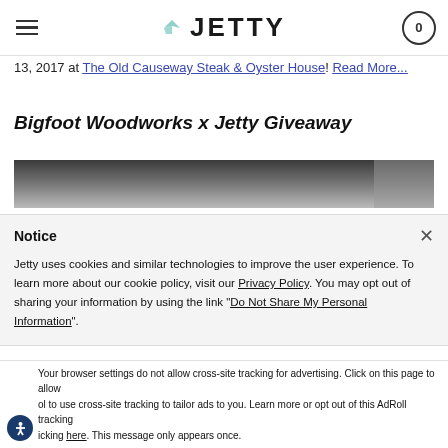JETTY (logo with hamburger menu and cart icon showing 0)
13, 2017 at The Old Causeway Steak & Oyster House! Read More...
Bigfoot Woodworks x Jetty Giveaway
[Figure (photo): Black and white photograph, partial view]
Notice
Jetty uses cookies and similar technologies to improve the user experience. To learn more about our cookie policy, visit our Privacy Policy. You may opt out of sharing your information by using the link "Do Not Share My Personal Information".
Accept and Close ×
Your browser settings do not allow cross-site tracking for advertising. Click on this page to allow ol to use cross-site tracking to tailor ads to you. Learn more or opt out of this AdRoll tracking icking here. This message only appears once.